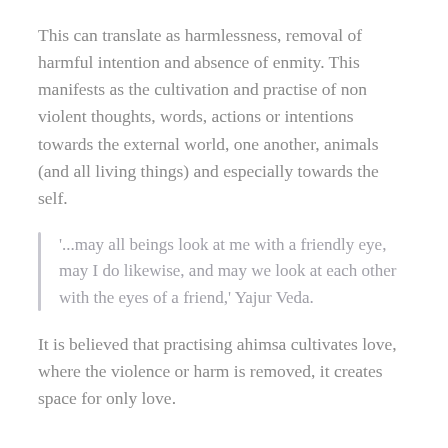This can translate as harmlessness, removal of harmful intention and absence of enmity. This manifests as the cultivation and practise of non violent thoughts, words, actions or intentions towards the external world, one another, animals (and all living things) and especially towards the self.
'...may all beings look at me with a friendly eye, may I do likewise, and may we look at each other with the eyes of a friend,' Yajur Veda.
It is believed that practising ahimsa cultivates love, where the violence or harm is removed, it creates space for only love.